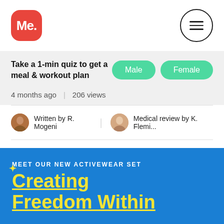[Figure (logo): Me. app logo — red rounded square with white 'Me.' text, and a hamburger menu icon in a circle on the right]
[Figure (infographic): Quiz banner with text 'Take a 1-min quiz to get a meal & workout plan' and two green pill buttons labeled 'Male' and 'Female']
4 months ago   206 views
Written by R. Mogeni   Medical review by K. Flemi...
[Figure (infographic): Blue advertisement banner: 'MEET OUR NEW ACTIVEWEAR SET' with large yellow headline 'Creating Freedom Within']